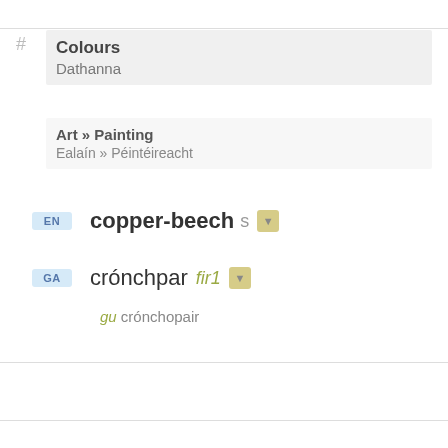# Colours
Dathanna
Art » Painting
Ealaín » Péintéireacht
EN copper-beech s
GA crónchpar fir1
gu crónchopair
1  »